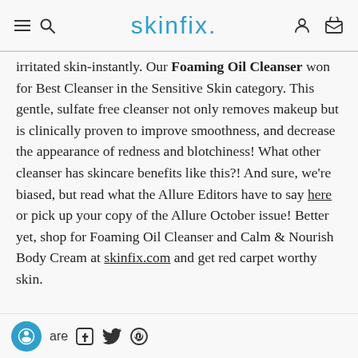skinfix.
irritated skin-instantly. Our Foaming Oil Cleanser won for Best Cleanser in the Sensitive Skin category. This gentle, sulfate free cleanser not only removes makeup but is clinically proven to improve smoothness, and decrease the appearance of redness and blotchiness! What other cleanser has skincare benefits like this?! And sure, we're biased, but read what the Allure Editors have to say here or pick up your copy of the Allure October issue! Better yet, shop for Foaming Oil Cleanser and Calm & Nourish Body Cream at skinfix.com and get red carpet worthy skin.
are [Facebook] [Twitter] [Pinterest]